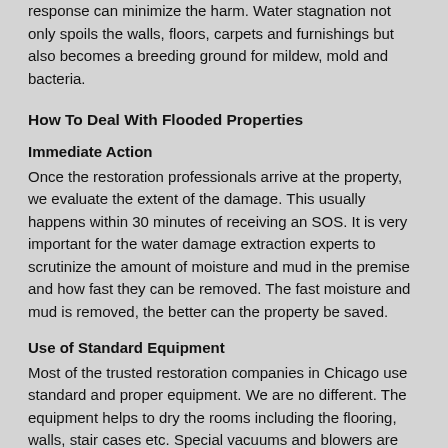response can minimize the harm. Water stagnation not only spoils the walls, floors, carpets and furnishings but also becomes a breeding ground for mildew, mold and bacteria.
How To Deal With Flooded Properties
Immediate Action
Once the restoration professionals arrive at the property, we evaluate the extent of the damage. This usually happens within 30 minutes of receiving an SOS. It is very important for the water damage extraction experts to scrutinize the amount of moisture and mud in the premise and how fast they can be removed. The fast moisture and mud is removed, the better can the property be saved.
Use of Standard Equipment
Most of the trusted restoration companies in Chicago use standard and proper equipment. We are no different. The equipment helps to dry the rooms including the flooring, walls, stair cases etc. Special vacuums and blowers are used for this purpose.
Sanitizing The Entire Property
Removing the water is not enough. We at A – Emergency Services and Restoration believe that it is equally important to remove the moisture content in the house. For this dehydrators are used. Once